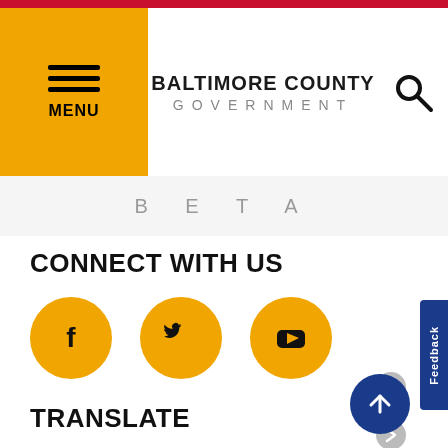BALTIMORE COUNTY GOVERNMENT
BETA
CONNECT WITH US
[Figure (illustration): Three golden circular social media icons: Facebook, Twitter, YouTube]
TRANSLATE
ESPAÑOL
FRANÇAIS